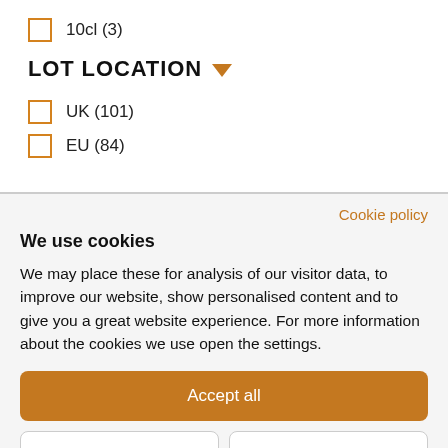10cl (3)
LOT LOCATION
UK (101)
EU (84)
Cookie policy
We use cookies
We may place these for analysis of our visitor data, to improve our website, show personalised content and to give you a great website experience. For more information about the cookies we use open the settings.
Accept all
Deny
No, adjust